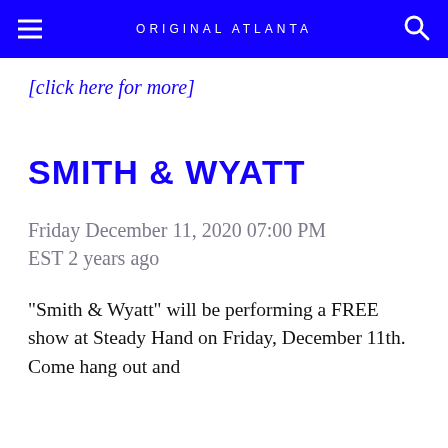ORIGINAL ATLANTA
[click here for more]
SMITH & WYATT
Friday December 11, 2020 07:00 PM EST 2 years ago
"Smith & Wyatt" will be performing a FREE show at Steady Hand on Friday, December 11th. Come hang out and